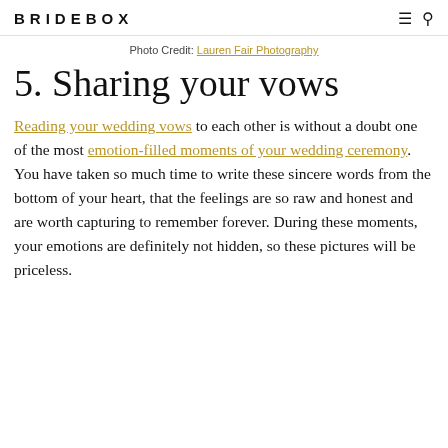BRIDEBOX
Photo Credit: Lauren Fair Photography
5. Sharing your vows
Reading your wedding vows to each other is without a doubt one of the most emotion-filled moments of your wedding ceremony. You have taken so much time to write these sincere words from the bottom of your heart, that the feelings are so raw and honest and are worth capturing to remember forever. During these moments, your emotions are definitely not hidden, so these pictures will be priceless.